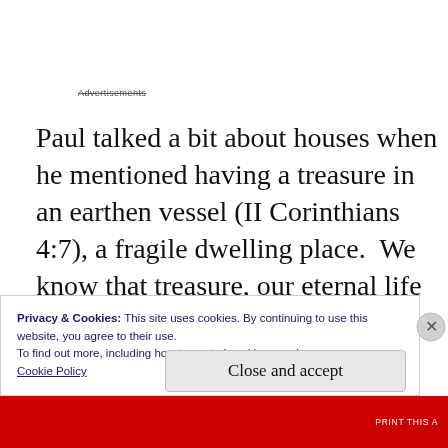Advertisements
Paul talked a bit about houses when he mentioned having a treasure in an earthen vessel (II Corinthians 4:7), a fragile dwelling place.  We know that treasure, our eternal life in Christ Jesus who dwells within us, continues on no matter the condition of our mortal
Privacy & Cookies: This site uses cookies. By continuing to use this website, you agree to their use.
To find out more, including how to control cookies, see here:
Cookie Policy
Close and accept